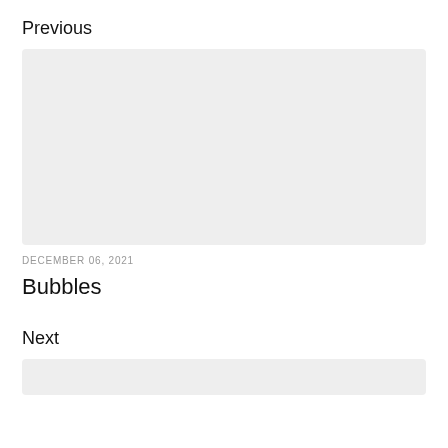Previous
[Figure (photo): Large light gray placeholder image block]
DECEMBER 06, 2021
Bubbles
Next
[Figure (photo): Small light gray placeholder image block at bottom]